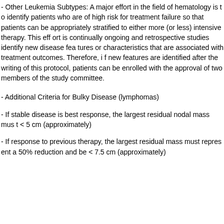- Other Leukemia Subtypes: A major effort in the field of hematology is to identify patients who are of high risk for treatment failure so that patients can be appropriately stratified to either more (or less) intensive therapy. This effort is continually ongoing and retrospective studies identify new disease features or characteristics that are associated with treatment outcomes. Therefore, if new features are identified after the writing of this protocol, patients can be enrolled with the approval of two members of the study committee.
- Additional Criteria for Bulky Disease (lymphomas)
- If stable disease is best response, the largest residual nodal mass must be < 5 cm (approximately)
- If response to previous therapy, the largest residual mass must represent a 50% reduction and be < 7.5 cm (approximately)